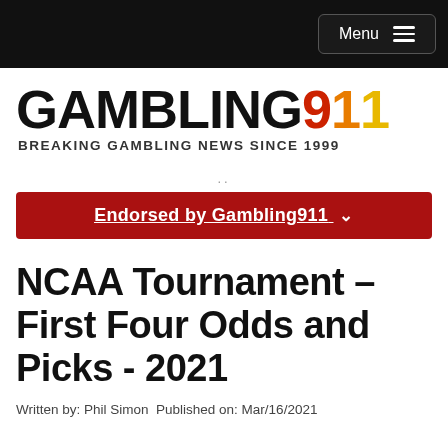Menu
[Figure (logo): Gambling911 logo with tagline BREAKING GAMBLING NEWS SINCE 1999]
..
Endorsed by Gambling911 ∨
NCAA Tournament – First Four Odds and Picks - 2021
Written by: Phil Simon  Published on: Mar/16/2021